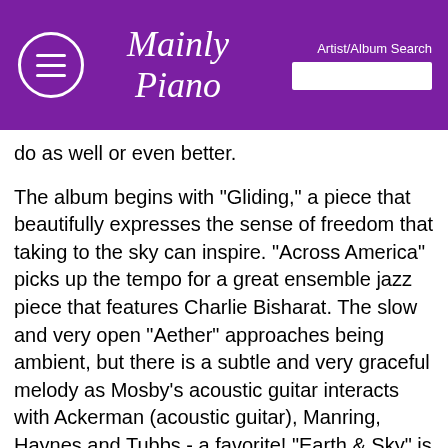Mainly Piano — Artist/Album Search
do as well or even better.
The album begins with "Gliding," a piece that beautifully expresses the sense of freedom that taking to the sky can inspire. "Across America" picks up the tempo for a great ensemble jazz piece that features Charlie Bisharat. The slow and very open "Aether" approaches being ambient, but there is a subtle and very graceful melody as Mosby's acoustic guitar interacts with Ackerman (acoustic guitar), Manring, Haynes and Tubbs - a favorite! "Earth & Sky" is a good-natured toe-tapper. "Into Starlight" describes a magical night flight with a relaxed, hushed quality that is simply gorgeous - also a favorite. This track has Mosby on acoustic guitar, while Lola Kristine adds piano and haunting wordless vocals in addition to Manring (bass), Haynes (percussion) and Tubbs (wind synth). "Sailing Sylphs" is also slow, relaxed and smooth - I really like this one, too! "To